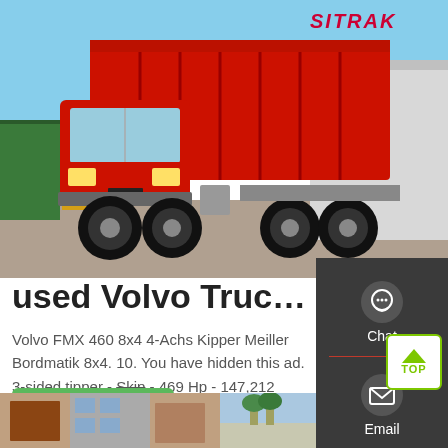[Figure (photo): Red SITRAK dump truck parked in a lot, front-left view, blue sky background]
used Volvo Truck fmx -...
Volvo FMX 460 8x4 4-Achs Kipper Meiller Bordmatik 8x4. 10. You have hidden this ad. 3-sided tipper - Skip - 469 Hp - 147,212 mile. Trucks. Germany, Niedersachsen
Get a Quote
[Figure (photo): Bottom strip with two photos: left shows a building facade, right shows an outdoor scene]